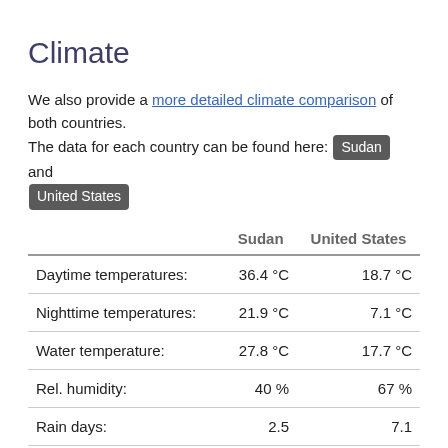Climate
We also provide a more detailed climate comparison of both countries.
The data for each country can be found here: Sudan and United States
|  | Sudan | United States |
| --- | --- | --- |
| Daytime temperatures: | 36.4 °C | 18.7 °C |
| Nighttime temperatures: | 21.9 °C | 7.1 °C |
| Water temperature: | 27.8 °C | 17.7 °C |
| Rel. humidity: | 40 % | 67 % |
| Rain days: | 2.5 | 7.1 |
| Sunshine hours per day: | 8.7 | 7.2 |